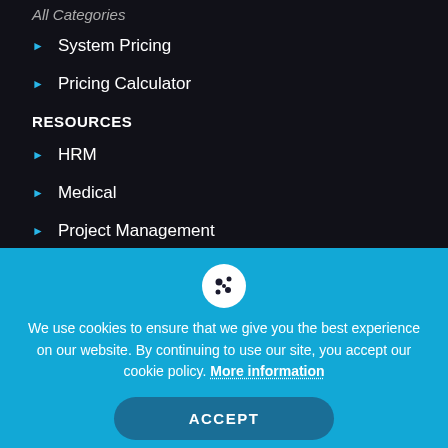All Categories
System Pricing
Pricing Calculator
RESOURCES
HRM
Medical
Project Management
MORE
We use cookies to ensure that we give you the best experience on our website. By continuing to use our site, you accept our cookie policy. More information
ACCEPT